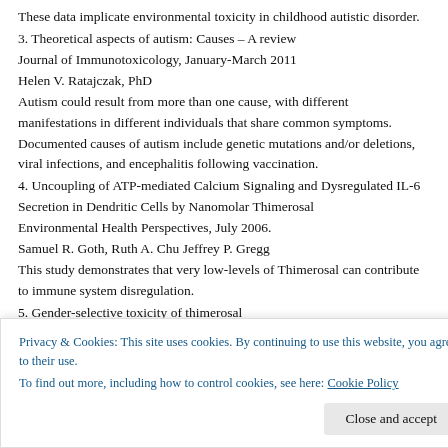These data implicate environmental toxicity in childhood autistic disorder.
3. Theoretical aspects of autism: Causes – A review
Journal of Immunotoxicology, January-March 2011
Helen V. Ratajczak, PhD
Autism could result from more than one cause, with different manifestations in different individuals that share common symptoms. Documented causes of autism include genetic mutations and/or deletions, viral infections, and encephalitis following vaccination.
4. Uncoupling of ATP-mediated Calcium Signaling and Dysregulated IL-6 Secretion in Dendritic Cells by Nanomolar Thimerosal
Environmental Health Perspectives, July 2006.
Samuel R. Goth, Ruth A. Chu Jeffrey P. Gregg
This study demonstrates that very low-levels of Thimerosal can contribute to immune system disregulation.
5. Gender-selective toxicity of thimerosal
Exp Toxicol Pathol. 2009 Mar;61(2):133-6. Epub 2008 Sep 3
Privacy & Cookies: This site uses cookies. By continuing to use this website, you agree to their use. To find out more, including how to control cookies, see here: Cookie Policy